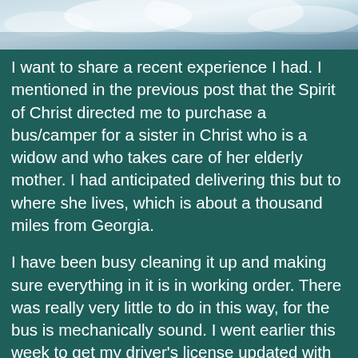[Figure (photo): Top portion of a photo showing hands or clouds, partially cropped at the top of the page]
I want to share a recent experience I had. I mentioned in the previous post that the Spirit of Christ directed me to purchase a bus/camper for a sister in Christ who is a widow and who takes care of her elderly mother. I had anticipated delivering this but to where she lives, which is about a thousand miles from Georgia.
I have been busy cleaning it up and making sure everything in it is in working order. There was really very little to do in this way, for the bus is mechanically sound. I went earlier this week to get my driver's license updated with my current address so that I could apply for a tag on the bus and send off for a title. While I was waiting at the Department of Driver Services for them to call my name to take my picture the Spirit put it